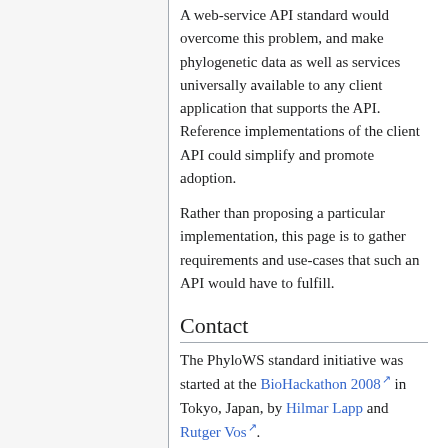A web-service API standard would overcome this problem, and make phylogenetic data as well as services universally available to any client application that supports the API. Reference implementations of the client API could simplify and promote adoption.
Rather than proposing a particular implementation, this page is to gather requirements and use-cases that such an API would have to fulfill.
Contact
The PhyloWS standard initiative was started at the BioHackathon 2008 in Tokyo, Japan, by Hilmar Lapp and Rutger Vos.
There is a Google Group dedicated to discussing all PhyloWS related issues...